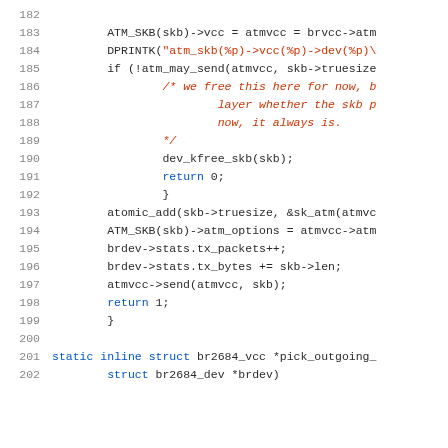[Figure (screenshot): Source code listing in C showing lines 182-202, with line numbers on the left and syntax-highlighted code on the right. Comments are shown in red/italic, keywords and identifiers in dark color, string literals in red.]